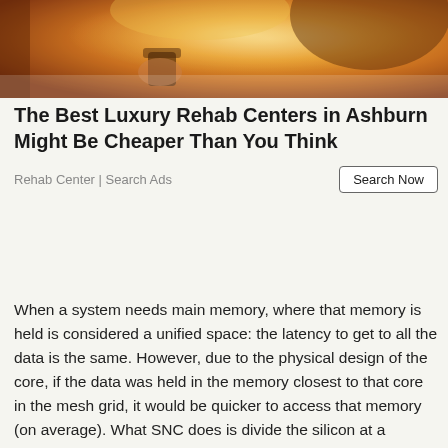[Figure (photo): Warm golden-toned photo of a person with blonde hair holding a cup, bathed in sunset/warm light]
The Best Luxury Rehab Centers in Ashburn Might Be Cheaper Than You Think
Rehab Center | Search Ads
When a system needs main memory, where that memory is held is considered a unified space: the latency to get to all the data is the same. However, due to the physical design of the core, if the data was held in the memory closest to that core in the mesh grid, it would be quicker to access that memory (on average). What SNC does is divide the silicon at a firmware level into two 'clusters', with each cluster having a preference for working with the cores, nodes, and memory controllers within its own cluster. There is nothing